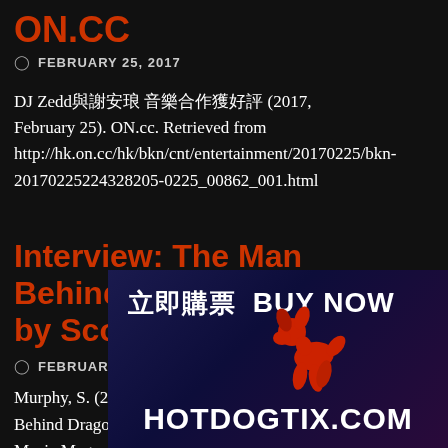ON.CC
FEBRUARY 25, 2017
DJ Zedd與謝安琪 音樂合作獲好評 (2017, February 25). ON.cc. Retrieved from http://hk.on.cc/hk/bkn/cnt/entertainment/20170225/bkn-20170225224328205-0225_00862_001.html
Interview: The Man Behind Dragonla... by Scott
FEBRUARY 24, 20...
Murphy, S. (2017... Behind Dragonla... Music Magazine. http://concertblog...
[Figure (advertisement): Advertisement for hotdogtix.com featuring Chinese text '立即購票', 'BUY NOW', a red balloon dog illustration, and 'HOTDOGTIX.COM' text on a dark blue/purple background.]